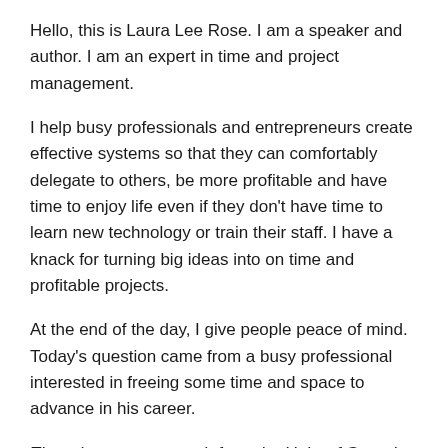Hello, this is Laura Lee Rose.  I am a speaker and author. I am an expert in time and project management.
I help busy professionals and entrepreneurs create effective systems so that they can comfortably delegate to others, be more profitable and have time to enjoy life even if they don't have time to learn new technology or train their staff.  I have a knack for turning big ideas into on time and profitable projects.
At the end of the day, I give people peace of mind. Today's question came from a busy professional interested in freeing some time and space to advance in his career.
There is a new research from the Univ. of Georgia that shows “what happens when employees feel excluded at work”: http://phys.org/news/2014-09-cheater-employees-